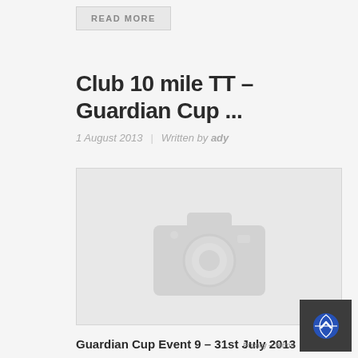READ MORE
Club 10 mile TT – Guardian Cup ...
1 August 2013 | Written by ady
[Figure (photo): Placeholder image with camera icon — no photo loaded]
Guardian Cup Event 9 – 31st July 2013
Conditions: Wet roads, headwind at start *